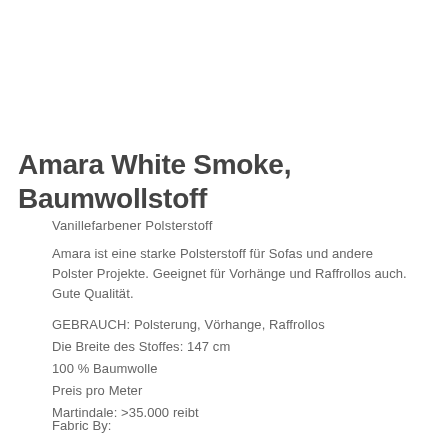Amara White Smoke, Baumwollstoff
Vanillefarbener Polsterstoff
Amara ist eine starke Polsterstoff für Sofas und andere Polster Projekte. Geeignet für Vorhänge und Raffrollos auch. Gute Qualität.
GEBRAUCH: Polsterung, Vörhange, Raffrollos
Die Breite des Stoffes: 147 cm
100 % Baumwolle
Preis pro Meter
Martindale: >35.000 reibt
Fabric By: